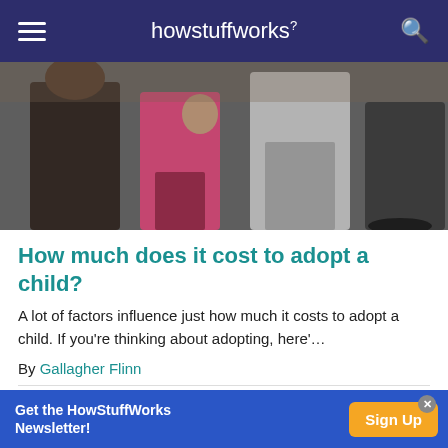howstuffworks
[Figure (photo): Group of people in a crowded public setting, seen from the waist down and mid-section. A person in pink, someone in dark clothes bending down, and others in white shirts visible.]
How much does it cost to adopt a child?
A lot of factors influence just how much it costs to adopt a child. If you're thinking about adopting, here'…
By Gallagher Flinn
Advertisement
[Figure (other): Gray advertisement placeholder box]
Get the HowStuffWorks Newsletter! Sign Up